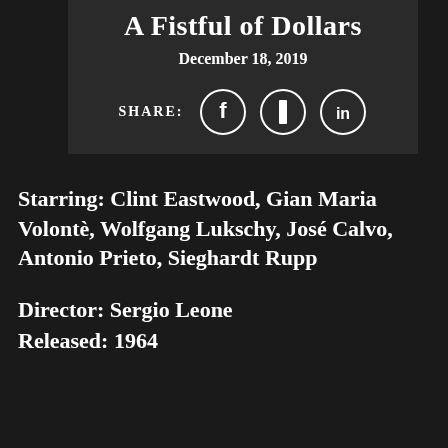A Fistful of Dollars
December 18, 2019
[Figure (other): Social share buttons row with SHARE: label and three circular icon buttons for Facebook, a bookmark/link icon, and LinkedIn]
Starring: Clint Eastwood, Gian Maria Volontè, Wolfgang Lukschy, José Calvo, Antonio Prieto, Sieghardt Rupp
Director: Sergio Leone
Released: 1964